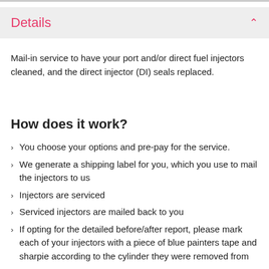Details
Mail-in service to have your port and/or direct fuel injectors cleaned, and the direct injector (DI) seals replaced.
How does it work?
You choose your options and pre-pay for the service.
We generate a shipping label for you, which you use to mail the injectors to us
Injectors are serviced
Serviced injectors are mailed back to you
If opting for the detailed before/after report, please mark each of your injectors with a piece of blue painters tape and sharpie according to the cylinder they were removed from